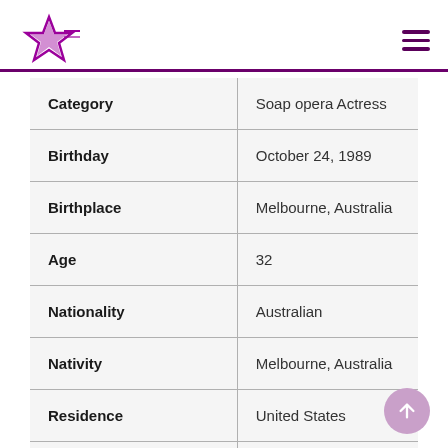Celebrity birthday website header with star logo and hamburger menu
| Category | Value |
| --- | --- |
| Category | Soap opera Actress |
| Birthday | October 24, 1989 |
| Birthplace | Melbourne, Australia |
| Age | 32 |
| Nationality | Australian |
| Nativity | Melbourne, Australia |
| Residence | United States |
| Religion | Christianity |